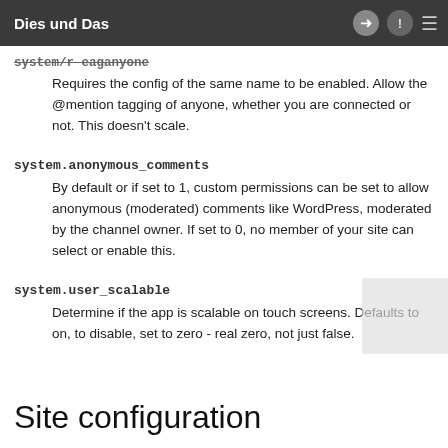Dies und Das
system/r eaganyone
Requires the config of the same name to be enabled.  Allow the @mention tagging of anyone, whether you are connected or not.  This doesn't scale.
system.anonymous_comments
By default or if set to 1, custom permissions can be set to allow anonymous (moderated) comments like WordPress, moderated by the channel owner. If set to 0, no member of your site can select or enable this.
system.user_scalable
Determine if the app is scalable on touch screens.  Defaults to on, to  disable, set to zero - real zero, not just false.
Site configuration